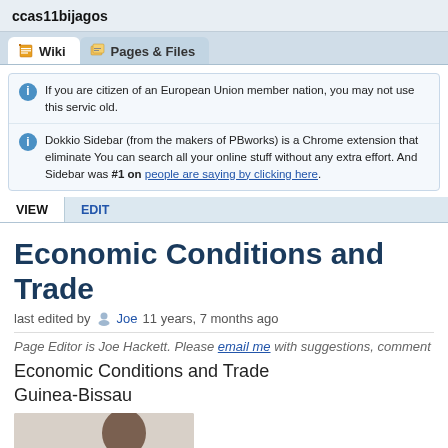ccas11bijagos
Wiki   Pages & Files
If you are citizen of an European Union member nation, you may not use this service old.
Dokkio Sidebar (from the makers of PBworks) is a Chrome extension that eliminates You can search all your online stuff without any extra effort. And Sidebar was #1 on people are saying by clicking here.
VIEW   EDIT
Economic Conditions and Trade
last edited by Joe 11 years, 7 months ago
Page Editor is Joe Hackett. Please email me with suggestions, comment
Economic Conditions and Trade
Guinea-Bissau
[Figure (photo): Photo of a person, partially visible at bottom of page]